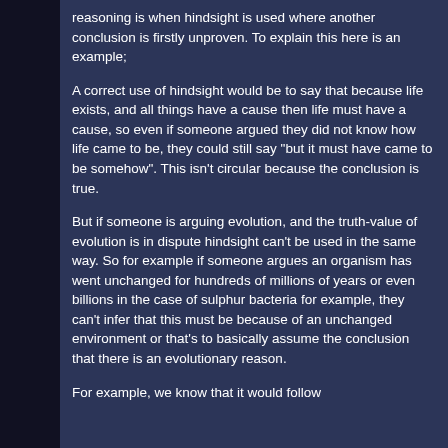reasoning is when hindsight is used where another conclusion is firstly unproven. To explain this here is an example;
A correct use of hindsight would be to say that because life exists, and all things have a cause then life must have a cause, so even if someone argued they did not know how life came to be, they could still say "but it must have came to be somehow". This isn't circular because the conclusion is true.
But if someone is arguing evolution, and the truth-value of evolution is in dispute hindsight can't be used in the same way. So for example if someone argues an organism has went unchanged for hundreds of millions of years or even billions in the case of sulphur bacteria for example, they can't infer that this must be because of an unchanged environment or that's to basically assume the conclusion that there is an evolutionary reason.
For example, we know that it would follow